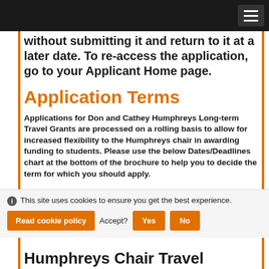without submitting it and return to it at a later date. To re-access the application, go to your Applicant Home page.
Application Terms
Applications for Don and Cathey Humphreys Long-term Travel Grants are processed on a rolling basis to allow for increased flexibility to the Humphreys chair in awarding funding to students. Please use the below Dates/Deadlines chart at the bottom of the brochure to help you to decide the term for which you should apply.
This site uses cookies to ensure you get the best experience. Read cookie policy Accept? Yes No
Humphreys Chair Travel